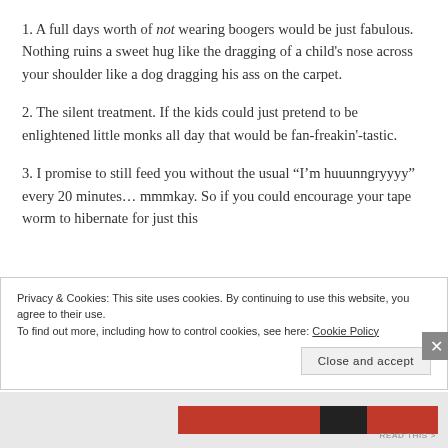1. A full days worth of not wearing boogers would be just fabulous. Nothing ruins a sweet hug like the dragging of a child's nose across your shoulder like a dog dragging his ass on the carpet.
2. The silent treatment. If the kids could just pretend to be enlightened little monks all day that would be fan-freakin'-tastic.
3. I promise to still feed you without the usual “I’m huuunngryyyy” every 20 minutes… mmmkay. So if you could encourage your tape worm to hibernate for just this
Privacy & Cookies: This site uses cookies. By continuing to use this website, you agree to their use.
To find out more, including how to control cookies, see here: Cookie Policy
Close and accept